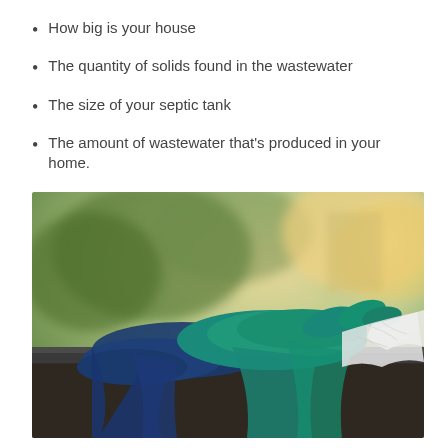How big is your house
The quantity of solids found in the wastewater
The size of your septic tank
The amount of wastewater that's produced in your home.
[Figure (photo): Cleaning gloves (blue and teal rubber/cloth) resting on a railing or ledge with a spray bottle partially visible, blurred green outdoor background with warm light]